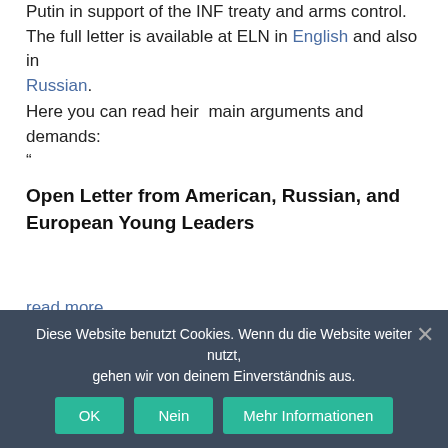Putin in support of the INF treaty and arms control. The full letter is available at ELN in English and also in Russian.
Here you can read heir  main arguments and demands:
"
Open Letter from American, Russian, and European Young Leaders
read more
Under: Nuclear Weapons, Statements, Uncategorized Tagged With: ELN, INF Treaty, New
Diese Website benutzt Cookies. Wenn du die Website weiter nutzt, gehen wir von deinem Einverständnis aus.